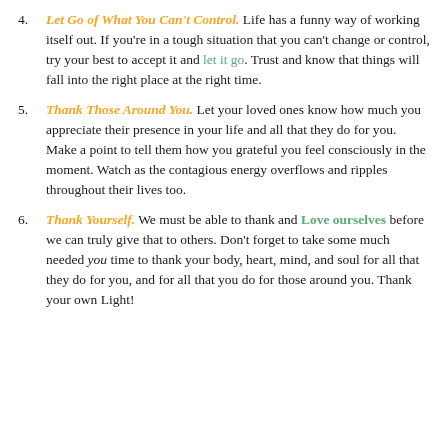4. Let Go of What You Can't Control. Life has a funny way of working itself out. If you're in a tough situation that you can't change or control, try your best to accept it and let it go. Trust and know that things will fall into the right place at the right time.
5. Thank Those Around You. Let your loved ones know how much you appreciate their presence in your life and all that they do for you. Make a point to tell them how you grateful you feel consciously in the moment. Watch as the contagious energy overflows and ripples throughout their lives too.
6. Thank Yourself. We must be able to thank and Love ourselves before we can truly give that to others. Don't forget to take some much needed you time to thank your body, heart, mind, and soul for all that they do for you, and for all that you do for those around you. Thank your own Light!